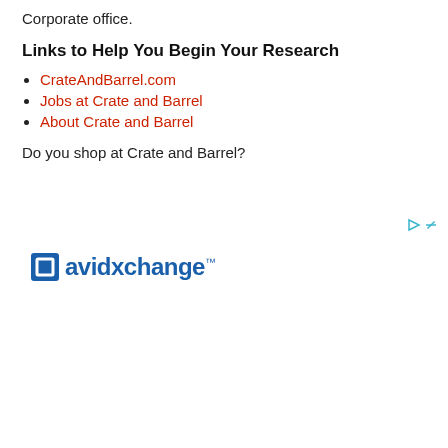Corporate office.
Links to Help You Begin Your Research
CrateAndBarrel.com
Jobs at Crate and Barrel
About Crate and Barrel
Do you shop at Crate and Barrel?
[Figure (logo): AvidXchange logo with blue square icon and blue text]